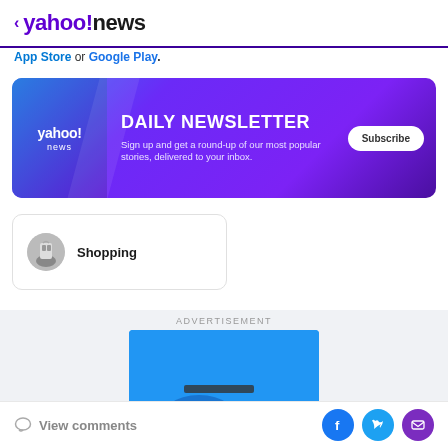< yahoo!news
App Store or Google Play.
[Figure (infographic): Yahoo News Daily Newsletter banner ad with purple/blue gradient background, yahoo! news logo on left, 'DAILY NEWSLETTER' title, description text, and Subscribe button]
[Figure (infographic): Shopping category card with circular icon showing hands/shopping image and 'Shopping' label]
ADVERTISEMENT
[Figure (photo): Blue advertisement banner partially visible]
View comments | Facebook | Twitter | Email share icons